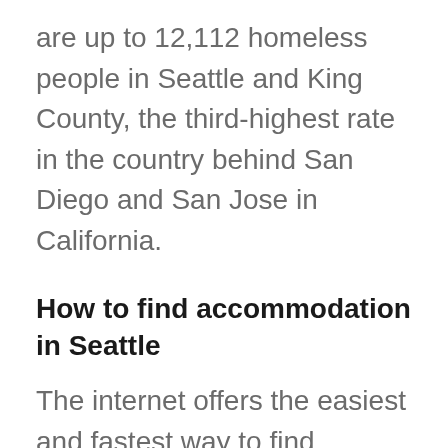are up to 12,112 homeless people in Seattle and King County, the third-highest rate in the country behind San Diego and San Jose in California.
How to find accommodation in Seattle
The internet offers the easiest and fastest way to find apartments, hotels, or houses to rent in Seattle. Several reliable websites provide apartment listings based on price, number of bedrooms, location, and more.